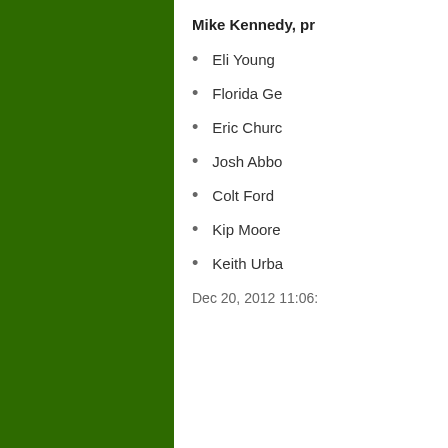Mike Kennedy, pr
Eli Young
Florida Ge
Eric Churc
Josh Abbo
Colt Ford
Kip Moore
Keith Urba
Dec 20, 2012 11:06:
Comm
14 Commen
No me
The Me